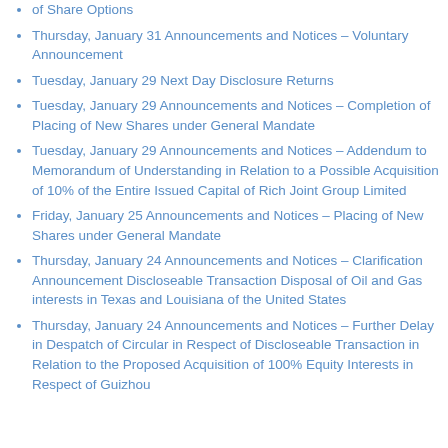of Share Options
Thursday, January 31 Announcements and Notices – Voluntary Announcement
Tuesday, January 29 Next Day Disclosure Returns
Tuesday, January 29 Announcements and Notices – Completion of Placing of New Shares under General Mandate
Tuesday, January 29 Announcements and Notices – Addendum to Memorandum of Understanding in Relation to a Possible Acquisition of 10% of the Entire Issued Capital of Rich Joint Group Limited
Friday, January 25 Announcements and Notices – Placing of New Shares under General Mandate
Thursday, January 24 Announcements and Notices – Clarification Announcement Discloseable Transaction Disposal of Oil and Gas interests in Texas and Louisiana of the United States
Thursday, January 24 Announcements and Notices – Further Delay in Despatch of Circular in Respect of Discloseable Transaction in Relation to the Proposed Acquisition of 100% Equity Interests in Respect of Guizhou